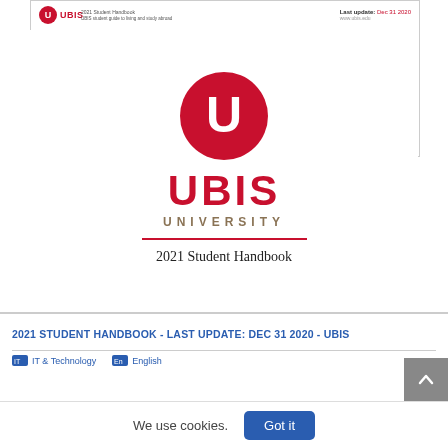[Figure (screenshot): Screenshot of UBIS University 2021 Student Handbook page header with UBIS logo, last update Dec 31 2020, and a red decorative bar]
[Figure (logo): UBIS University logo: red circle with white U letter, UBIS in red bold letters, UNIVERSITY in gold/tan letters, red horizontal line, and '2021 Student Handbook' text below]
2021 STUDENT HANDBOOK - LAST UPDATE: DEC 31 2020 - UBIS
IT & Technology   English
We use cookies.
Got it